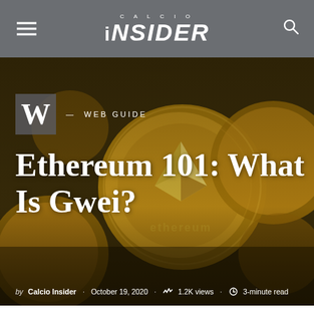CALCIO INSIDER
[Figure (photo): Background photo of gold Bitcoin and Ethereum cryptocurrency coins close-up]
W — WEB GUIDE
Ethereum 101: What Is Gwei?
by Calcio Insider · October 19, 2020 · 1.2K views · 3-minute read